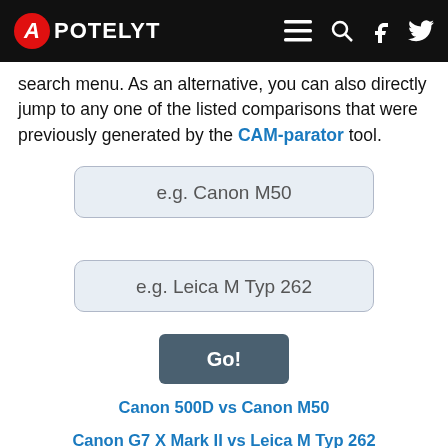APOTELYT
search menu. As an alternative, you can also directly jump to any one of the listed comparisons that were previously generated by the CAM-parator tool.
[Figure (screenshot): Search input box with placeholder text 'e.g. Canon M50']
[Figure (screenshot): Search input box with placeholder text 'e.g. Leica M Typ 262']
[Figure (screenshot): Go! button]
Canon 500D vs Canon M50
Canon G7 X Mark II vs Leica M Typ 262
Canon M100 vs Leica M Typ 262